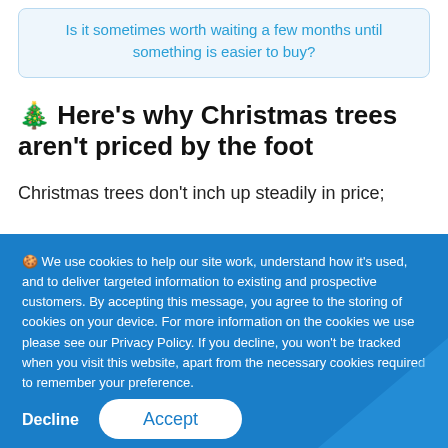Is it sometimes worth waiting a few months until something is easier to buy?
🎄 Here's why Christmas trees aren't priced by the foot
Christmas trees don't inch up steadily in price;
🍪 We use cookies to help our site work, understand how it's used, and to deliver targeted information to existing and prospective customers. By accepting this message, you agree to the storing of cookies on your device. For more information on the cookies we use please see our Privacy Policy. If you decline, you won't be tracked when you visit this website, apart from the necessary cookies required to remember your preference.
Decline
Accept